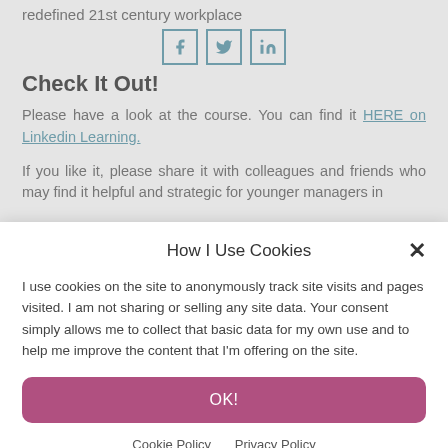redefined 21st century workplace
[Figure (other): Social share icons: Facebook, Twitter, LinkedIn]
Check It Out!
Please have a look at the course. You can find it HERE on Linkedin Learning.
If you like it, please share it with colleagues and friends who may find it helpful and strategic for younger managers in
How I Use Cookies
I use cookies on the site to anonymously track site visits and pages visited. I am not sharing or selling any site data. Your consent simply allows me to collect that basic data for my own use and to help me improve the content that I'm offering on the site.
OK!
Cookie Policy   Privacy Policy